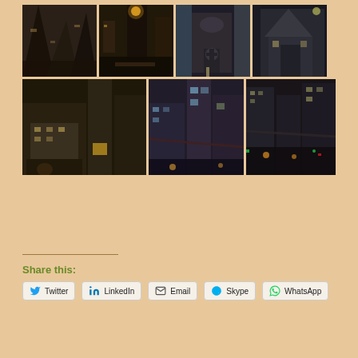[Figure (photo): Grid of 7 nighttime urban/cityscape photos showing skyscrapers, city streets, church facades, and city lights at night]
Share this:
Twitter
LinkedIn
Email
Skype
WhatsApp